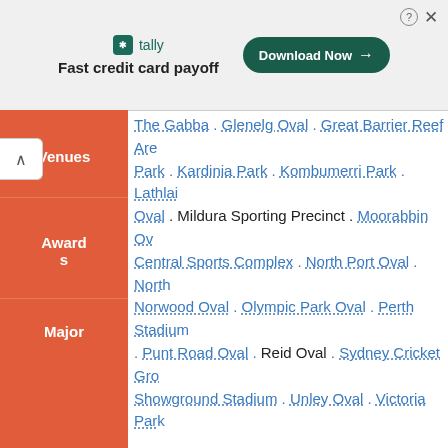[Figure (screenshot): Advertisement banner for Tally app - Fast credit card payoff with Download Now button]
The Gabba . Glenelg Oval . Great Barrier Reef Arena Park . Kardinia Park . Kombumerri Park . Lathlain Oval . Mildura Sporting Precinct . Moorabbin Oval . Central Sports Complex . North Port Oval . North . Norwood Oval . Olympic Park Oval . Perth Stadium . Punt Road Oval . Reid Oval . Sydney Cricket Ground . Showground Stadium . Unley Oval . Victoria Park
AFL Women's All-Australian team . AFL Women's fairest winners . AFL Women's leading goalkicker . AFL Women's